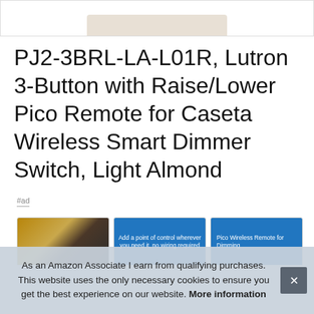[Figure (photo): Partial product image area at top — bottom edge of a light almond colored device on white background]
PJ2-3BRL-LA-L01R, Lutron 3-Button with Raise/Lower Pico Remote for Caseta Wireless Smart Dimmer Switch, Light Almond
#ad
[Figure (photo): Three thumbnail images: left shows a room scene with lamp and cabinet, center shows blue tile with text 'Add a point of control wherever you need it, no wiring required', right shows blue tile with text 'Pico Wireless Remote for Dimming']
As an Amazon Associate I earn from qualifying purchases. This website uses the only necessary cookies to ensure you get the best experience on our website. More information